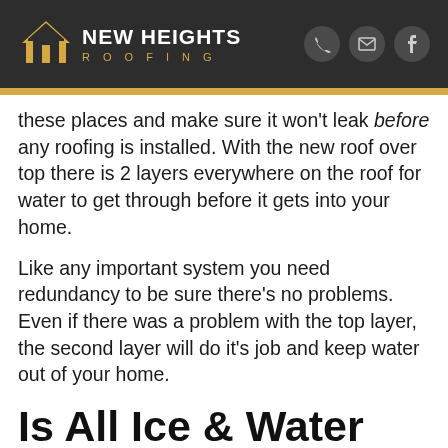NEW HEIGHTS ROOFING
these places and make sure it won't leak before any roofing is installed. With the new roof over top there is 2 layers everywhere on the roof for water to get through before it gets into your home.
Like any important system you need redundancy to be sure there's no problems. Even if there was a problem with the top layer, the second layer will do it's job and keep water out of your home.
Is All Ice & Water Shield Created